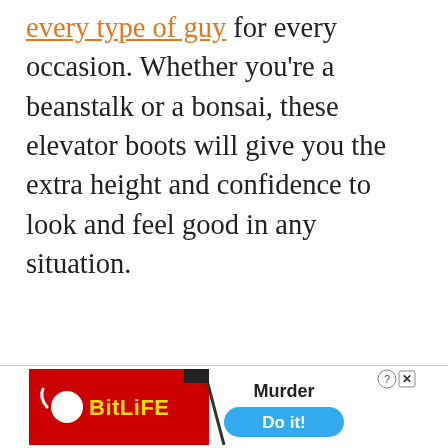every type of guy for every occasion. Whether you're a beanstalk or a bonsai, these elevator boots will give you the extra height and confidence to look and feel good in any situation.
[Figure (screenshot): Advertisement banner for BitLife mobile game showing red background with BitLife logo on left, diagonal slash line, and Murder/Do it! text with blue button on right]